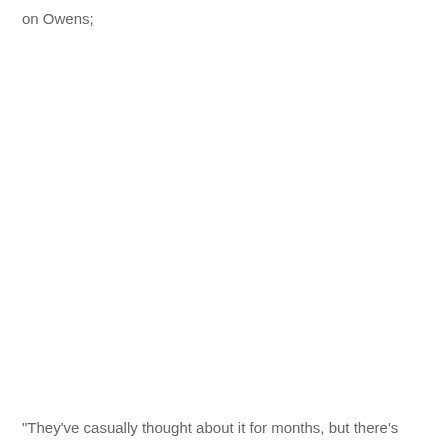on Owens;
"They've casually thought about it for months, but there's